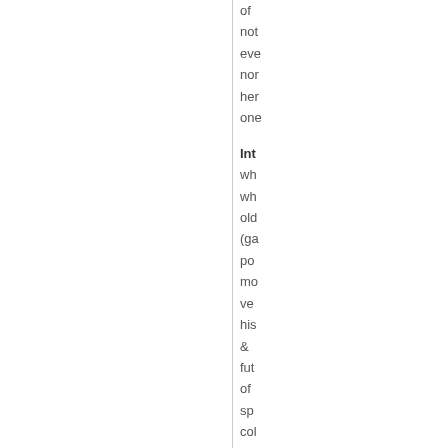of not eve nor her one
Int
wh wh old (ga po mo ve his & fut of sp col
St
Za has car